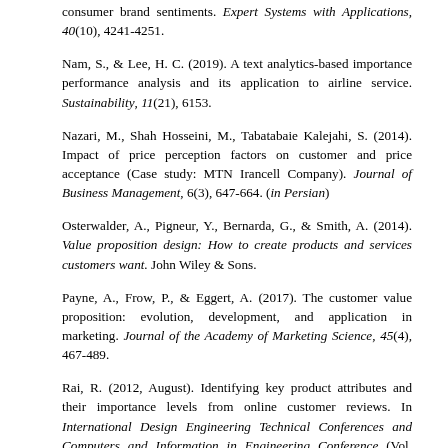consumer brand sentiments. Expert Systems with Applications, 40(10), 4241-4251.
Nam, S., & Lee, H. C. (2019). A text analytics-based importance performance analysis and its application to airline service. Sustainability, 11(21), 6153.
Nazari, M., Shah Hosseini, M., Tabatabaie Kalejahi, S. (2014). Impact of price perception factors on customer and price acceptance (Case study: MTN Irancell Company). Journal of Business Management, 6(3), 647-664. (in Persian)
Osterwalder, A., Pigneur, Y., Bernarda, G., & Smith, A. (2014). Value proposition design: How to create products and services customers want. John Wiley & Sons.
Payne, A., Frow, P., & Eggert, A. (2017). The customer value proposition: evolution, development, and application in marketing. Journal of the Academy of Marketing Science, 45(4), 467-489.
Rai, R. (2012, August). Identifying key product attributes and their importance levels from online customer reviews. In International Design Engineering Technical Conferences and Computers and Information in Engineering Conference (Vol. 45028, pp. 533-540). American Society of Mechanical Engineers.
Raschka, S., & Mirjalili, V. (2019). Python Machine Learning: Machine